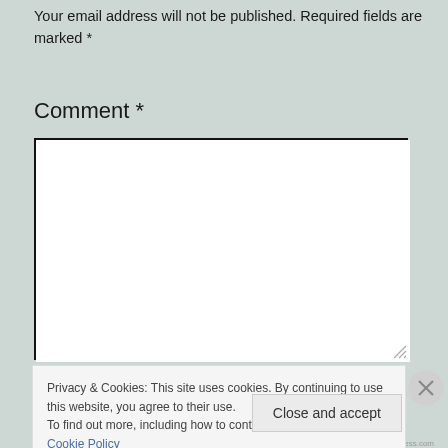Your email address will not be published. Required fields are marked *
Comment *
[Figure (screenshot): Empty comment textarea input box with white background and dark border]
Privacy & Cookies: This site uses cookies. By continuing to use this website, you agree to their use. To find out more, including how to control cookies, see here: Cookie Policy
Close and accept